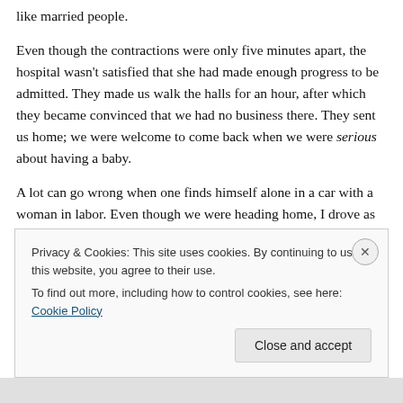like married people.
Even though the contractions were only five minutes apart, the hospital wasn't satisfied that she had made enough progress to be admitted. They made us walk the halls for an hour, after which they became convinced that we had no business there. They sent us home; we were welcome to come back when we were serious about having a baby.
A lot can go wrong when one finds himself alone in a car with a woman in labor. Even though we were heading home, I drove as though it were an emergency. I was sure
Privacy & Cookies: This site uses cookies. By continuing to use this website, you agree to their use.
To find out more, including how to control cookies, see here: Cookie Policy